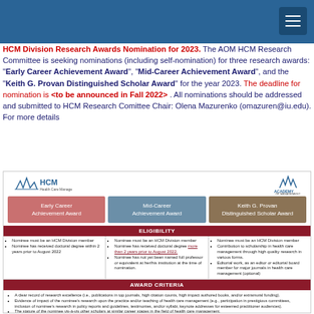Navigation bar with hamburger menu
HCM Division Research Awards Nomination for 2023. The AOM HCM Research Committee is seeking nominations (including self-nomination) for three research awards: "Early Career Achievement Award", "Mid-Career Achievement Award", and the "Keith G. Provan Distinguished Scholar Award" for the year 2023. The deadline for nomination is <to be announced in Fall 2022> . All nominations should be addressed and submitted to HCM Research Comittee Chair: Olena Mazurenko (omazuren@iu.edu). For more details
[Figure (infographic): HCM Division Research Awards infographic showing three award categories (Early Career Achievement Award, Mid-Career Achievement Award, Keith G. Provan Distinguished Scholar Award) with eligibility criteria and award criteria sections. Logos for HCM and Academy of Management shown at top.]